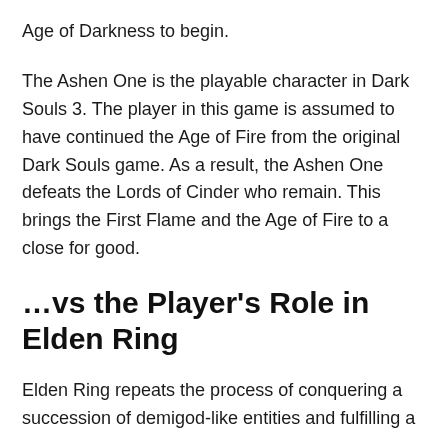Age of Darkness to begin.
The Ashen One is the playable character in Dark Souls 3. The player in this game is assumed to have continued the Age of Fire from the original Dark Souls game. As a result, the Ashen One defeats the Lords of Cinder who remain. This brings the First Flame and the Age of Fire to a close for good.
…vs the Player's Role in Elden Ring
Elden Ring repeats the process of conquering a succession of demigod-like entities and fulfilling a